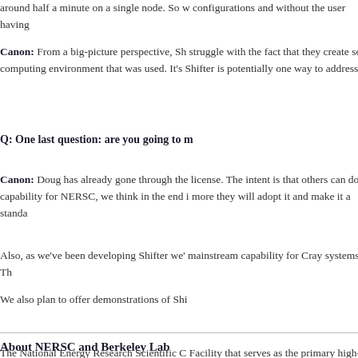around half a minute on a single node. So w configurations and without the user having
Canon: From a big-picture perspective, Sh struggle with the fact that they create some computing environment that was used. It's Shifter is potentially one way to address tha
Q: One last question: are you going to m
Canon: Doug has already gone through the license. The intent is that others can downl capability for NERSC, we think in the end i more they will adopt it and make it a standa
Also, as we've been developing Shifter we' mainstream capability for Cray systems. Th
We also plan to offer demonstrations of Shi
About NERSC and Berkeley Lab
The National Energy Research Scientific C Facility that serves as the primary high-per Located at Lawrence Berkeley National Lab